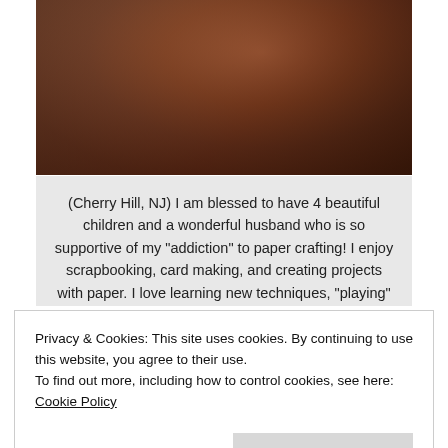[Figure (photo): Partial photo of a person with brown/blonde hair, dark floral clothing, warm tones]
(Cherry Hill, NJ) I am blessed to have 4 beautiful children and a wonderful husband who is so supportive of my "addiction" to paper crafting! I enjoy scrapbooking, card making, and creating projects with paper. I love learning new techniques, "playing" with all the cool tools and products I can get my hands on, and sharing my projects with others who share my
Privacy & Cookies: This site uses cookies. By continuing to use this website, you agree to their use.
To find out more, including how to control cookies, see here: Cookie Policy
Close and accept